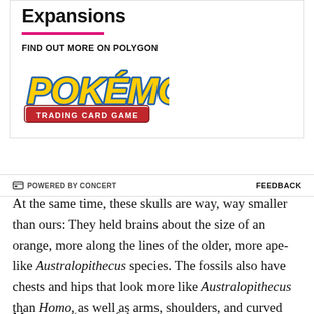Expansions
[Figure (logo): Pokémon Trading Card Game logo with yellow 3D lettering and red banner]
FIND OUT MORE ON POLYGON
POWERED BY CONCERT   FEEDBACK
At the same time, these skulls are way, way smaller than ours: They held brains about the size of an orange, more along the lines of the older, more ape-like Australopithecus species. The fossils also have chests and hips that look more like Australopithecus than Homo, as well as arms, shoulders, and curved fingers that seem to be adapted for climbing.